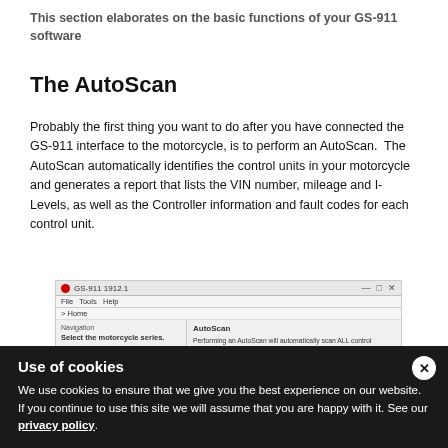This section elaborates on the basic functions of your GS-911 software
The AutoScan
Probably the first thing you want to do after you have connected the GS-911 interface to the motorcycle, is to perform an AutoScan.  The AutoScan automatically identifies the control units in your motorcycle and generates a report that lists the VIN number, mileage and I-Levels, as well as the Controller information and fault codes for each control unit.
[Figure (screenshot): GS-911 software screenshot showing the AutoScan interface with navigation panel on left listing B Series, F Series, K Series and AutoScan panel on right with Perform AutoScan, Print Report, and Save As buttons.]
Use of cookies
We use cookies to ensure that we give you the best experience on our website. If you continue to use this site we will assume that you are happy with it. See our privacy policy.